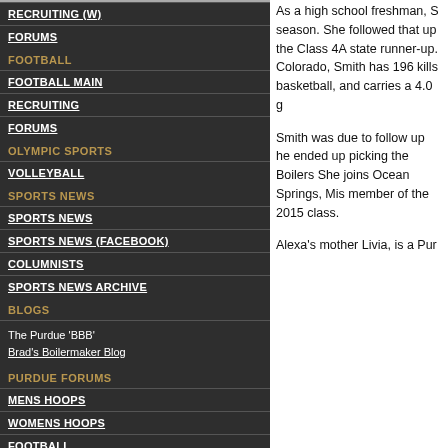RECRUITING (W)
FORUMS
FOOTBALL
FOOTBALL MAIN
RECRUITING
FORUMS
OLYMPIC SPORTS
VOLLEYBALL
SPORTS NEWS
SPORTS NEWS
SPORTS NEWS (FACEBOOK)
COLUMNISTS
SPORTS NEWS ARCHIVE
BLOGS
The Purdue 'BBB'
Brad's Boilermaker Blog
PURDUE FORUMS
MENS HOOPS
WOMENS HOOPS
FOOTBALL
FOOTBALL RECRUITING
TICKET BOARD
As a high school freshman, S... season. She followed that up... the Class 4A state runner-up. Colorado, Smith has 196 kills... basketball, and carries a 4.0 g...
Smith was due to follow up he... ended up picking the Boilers... She joins Ocean Springs, Mis... member of the 2015 class.
Alexa's mother Livia, is a Pur...